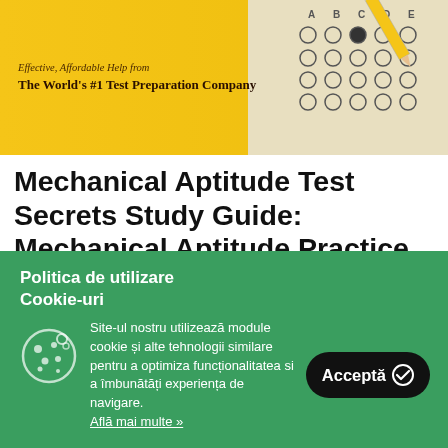[Figure (illustration): Book cover image with yellow background showing text 'Effective, Affordable Help from The World's #1 Test Preparation Company' on the left side and a pencil filling in a multiple-choice answer sheet on the right side.]
Mechanical Aptitude Test Secrets Study Guide: Mechanical Aptitude Practice Questions & Review for the Mechanical Aptitude Exam,
Politica de utilizare Cookie-uri
Site-ul nostru utilizează module cookie și alte tehnologii similare pentru a optimiza funcționalitatea si a îmbunătăți experiența de navigare.
Află mai multe »